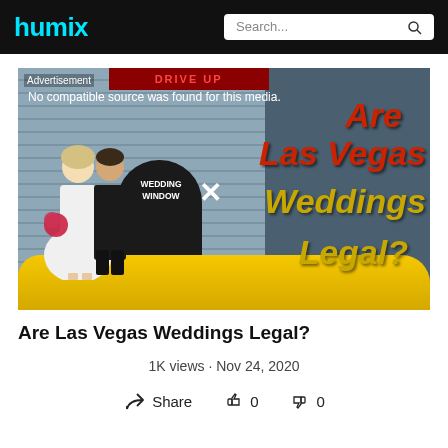humix | Search...
[Figure (screenshot): Video thumbnail showing a couple (bride and groom) in a yellow convertible car in front of a "Wedding Window" chapel. Text overlay reads 'Are Las Vegas Weddings Legal?' with an X mark. Also shows 'Advertisement' label and 'No compatible source was found for this media.']
Are Las Vegas Weddings Legal?
1K views · Nov 24, 2020
Share   0   0